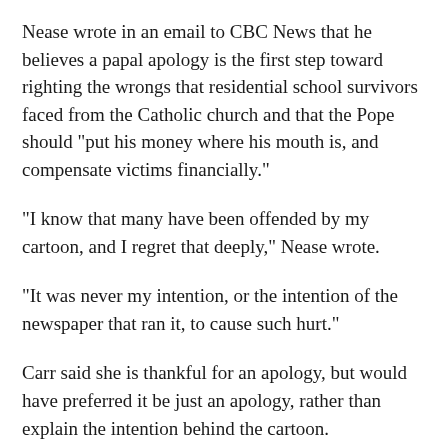Nease wrote in an email to CBC News that he believes a papal apology is the first step toward righting the wrongs that residential school survivors faced from the Catholic church and that the Pope should "put his money where his mouth is, and compensate victims financially."
"I know that many have been offended by my cartoon, and I regret that deeply," Nease wrote.
"It was never my intention, or the intention of the newspaper that ran it, to cause such hurt."
Carr said she is thankful for an apology, but would have preferred it be just an apology, rather than explain the intention behind the cartoon.